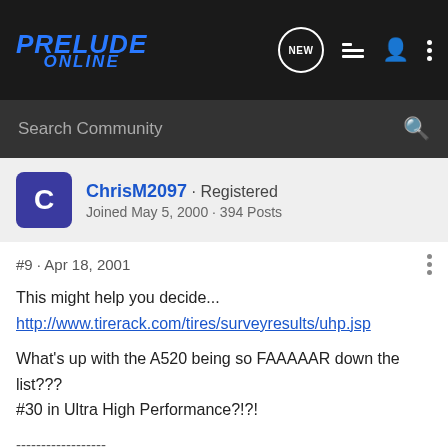PRELUDE ONLINE
Search Community
ChrisM2097 · Registered
Joined May 5, 2000 · 394 Posts
#9 · Apr 18, 2001
This might help you decide...
http://www.tirerack.com/tires/surveyresults/uhp.jsp

What's up with the A520 being so FAAAAAR down the list???
#30 in Ultra High Performance?!?!

------------------
Chris
Premium White '99 base model Prelude
· AEM Cold Air Intake